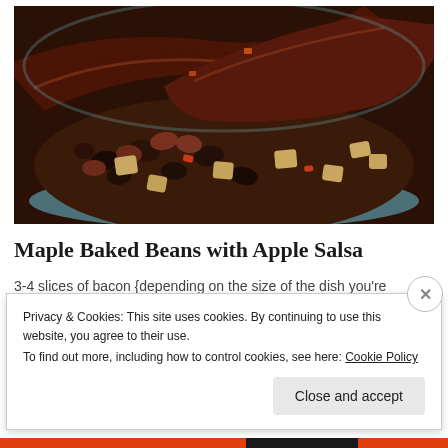[Figure (photo): Close-up photo of Maple Baked Beans with Apple Salsa in a blue bowl — dark glazed bacon strips layered over mixed beans and cubed apple pieces]
Maple Baked Beans with Apple Salsa
3-4 slices of bacon {depending on the size of the dish you're cooking the beans in}
Privacy & Cookies: This site uses cookies. By continuing to use this website, you agree to their use.
To find out more, including how to control cookies, see here: Cookie Policy
Close and accept